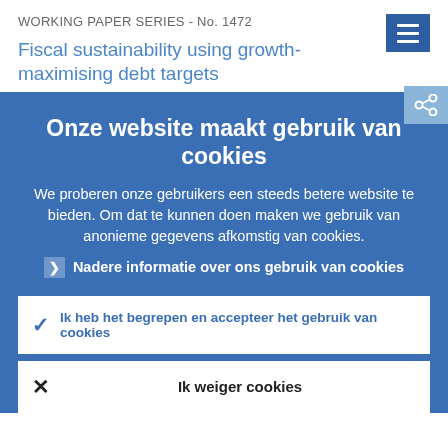WORKING PAPER SERIES - No. 1472
Fiscal sustainability using growth-maximising debt targets
Onze website maakt gebruik van cookies
We proberen onze gebruikers een steeds betere website te bieden. Om dat te kunnen doen maken we gebruik van anonieme gegevens afkomstig van cookies.
Nadere informatie over ons gebruik van cookies
Ik heb het begrepen en accepteer het gebruik van cookies
Ik weiger cookies